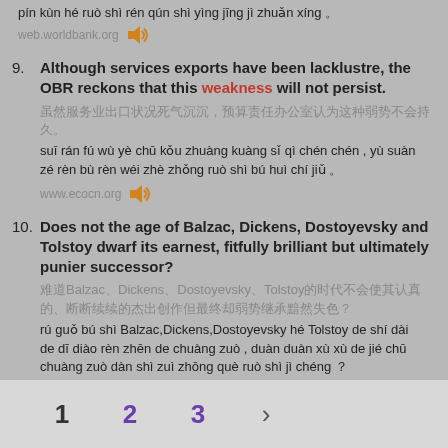pín kùn hé ruò shì rén qún shì yìng jīng jì zhuǎn xíng 。
web.worldbank.org
9. Although services exports have been lacklustre, the OBR reckons that this weakness will not persist.
（Chinese characters for translation）
suī rán fú wù yè chū kǒu zhuàng kuàng sǐ qì chén chén , yù suàn zé rèn bù rèn wéi zhè zhǒng ruò shì bú huì chí jiǔ 。
www.ecocn.org
10. Does not the age of Balzac, Dickens, Dostoyevsky and Tolstoy dwarf its earnest, fitfully brilliant but ultimately punier successor?
（Chinese characters including Balzac、Dickens、Dostoyevsky、Tolstoy）
rú guǒ bú shì Balzac,Dickens,Dostoyevsky hé Tolstoy de shí dài de dī diào rèn zhēn de chuàng zuò , duàn duàn xù xù de jié chū chuàng zuò dàn shì zuì zhōng què ruò shì jì chéng ？
article.yeeyan.org
1  2  3  >